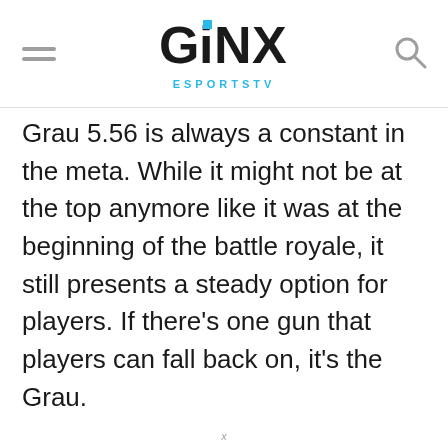GINX ESPORTS TV
Grau 5.56 is always a constant in the meta. While it might not be at the top anymore like it was at the beginning of the battle royale, it still presents a steady option for players. If there's one gun that players can fall back on, it's the Grau.
x